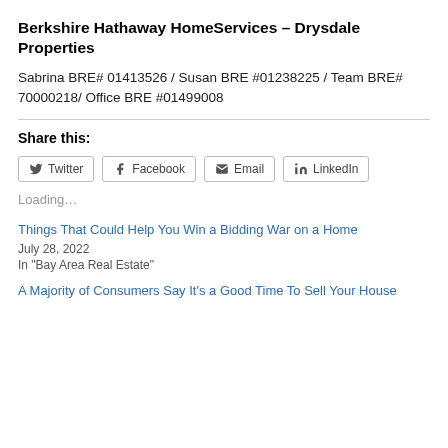Berkshire Hathaway HomeServices – Drysdale Properties
Sabrina BRE# 01413526 / Susan BRE #01238225 / Team BRE# 70000218/ Office BRE #01499008
Share this:
Loading...
Things That Could Help You Win a Bidding War on a Home
July 28, 2022
In "Bay Area Real Estate"
A Majority of Consumers Say It's a Good Time To Sell Your House